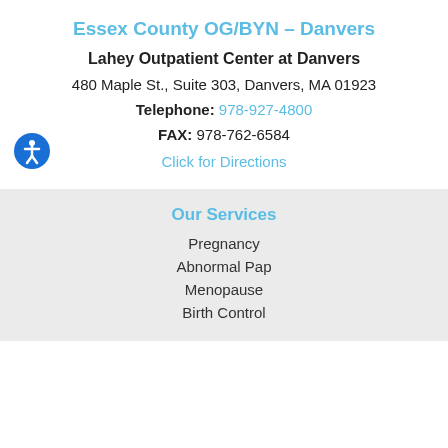Essex County OG/BYN – Danvers
Lahey Outpatient Center at Danvers
480 Maple St., Suite 303, Danvers, MA 01923
Telephone: 978-927-4800
FAX: 978-762-6584
Click for Directions
Our Services
Pregnancy
Abnormal Pap
Menopause
Birth Control